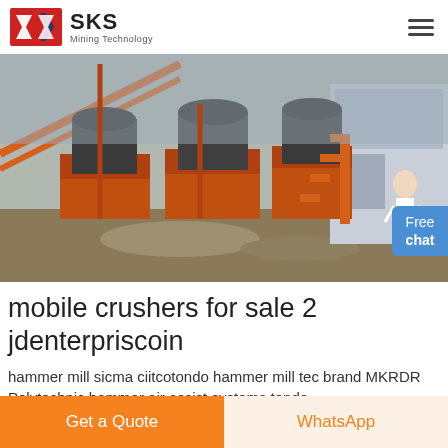SKS Mining Technology
[Figure (photo): Industrial mining crusher machines on orange steel platforms at an outdoor facility, with conveyor belts and a building in the background. A woman figure and 'Free chat' button visible on the right.]
mobile crushers for sale 2 jdenterpriscoin
hammer mill sicma ciitcotondo hammer mill tec brand MKRDR Polytechnic hammer air assist systems tondo
Get a Quote
WhatsApp